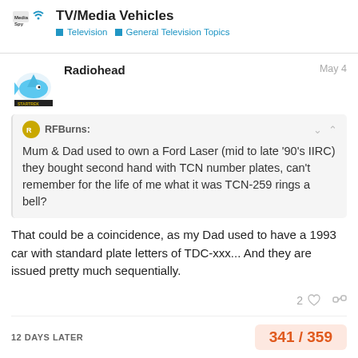TV/Media Vehicles — Television > General Television Topics
Radiohead  May 4
RFBurns: Mum & Dad used to own a Ford Laser (mid to late '90's IIRC) they bought second hand with TCN number plates, can't remember for the life of me what it was TCN-259 rings a bell?
That could be a coincidence, as my Dad used to have a 1993 car with standard plate letters of TDC-xxx... And they are issued pretty much sequentially.
2  [like icon] [link icon]
12 DAYS LATER  341 / 359